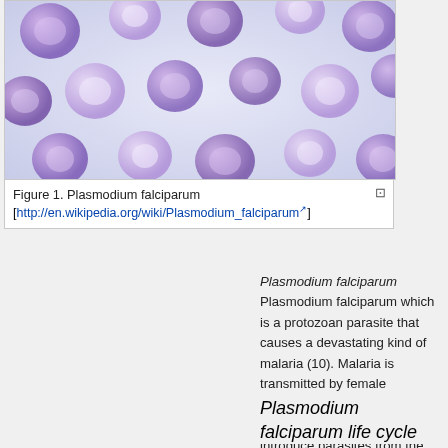[Figure (photo): Microscopy image of Plasmodium falciparum infected red blood cells, showing purple/violet stained circular cells against a light blue background]
Figure 1. Plasmodium falciparum
[http://en.wikipedia.org/wiki/Plasmodium_falciparum]
Plasmodium falciparum Plasmodium falciparum which is a protozoan parasite that causes a devastating kind of malaria (10). Malaria is transmitted by female anopheles mosquito. When mosquitoes bite, they introduce parasites from the mosquito's saliva into humans' circulatory system. Over 75 % of the malaria cases reported in sub-Saharan Africa are caused by plasmodium falciparum (11). The ability of plasmodium parasite that allows it to be transmitted extensively comes from the fact that it develops in the red blood cells and therefore suppresses their function.
Plasmodium falciparum life cycle